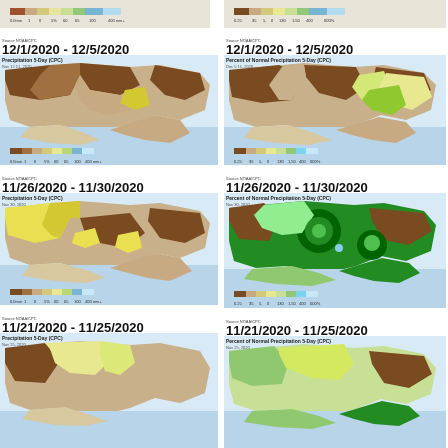[Figure (map): Precipitation 5-Day (CPC) map for 12/1/2020 - 12/5/2020, left column, showing precipitation over Ukraine/Black Sea region with brown/tan/yellow/green/blue color scale]
12/1/2020 - 12/5/2020
[Figure (map): Precipitation 5-Day (CPC) map for 12/1/2020 - 12/5/2020, left panel full map with color bar 0.0mm-1-0-5-25-60-65-100-400mm]
Source NOAA/CPC
http://www.cpc.ncep.noaa.gov/
[Figure (map): Percent of Normal Precipitation 5-Day (CPC) map for 12/1/2020 - 12/5/2020, right column, brown/tan/yellow/green/light blue color scale]
12/1/2020 - 12/5/2020
[Figure (map): Percent of Normal Precipitation 5-Day (CPC) map for 12/1/2020 - 12/5/2020, right panel full map with color bar 0-25-5-0-30-130-150-400-000%]
Source NOAA/CPC
http://www.cpc.ncep.noaa.gov/
11/26/2020 - 11/30/2020
[Figure (map): Precipitation 5-Day (CPC) map for 11/26/2020 - 11/30/2020, left column, showing precipitation with yellow/brown/tan colors]
Source NOAA/CPC
http://www.cpc.ncep.noaa.gov/
11/26/2020 - 11/30/2020
[Figure (map): Percent of Normal Precipitation 5-Day (CPC) map for 11/26/2020 - 11/30/2020, right column, showing green/dark green colors]
Source NOAA/CPC
http://www.cpc.ncep.noaa.gov/
11/21/2020 - 11/25/2020
[Figure (map): Precipitation 5-Day (CPC) map for 11/21/2020 - 11/25/2020, left column, partial view]
11/21/2020 - 11/25/2020
[Figure (map): Percent of Normal Precipitation 5-Day (CPC) map for 11/21/2020 - 11/25/2020, right column, partial view]